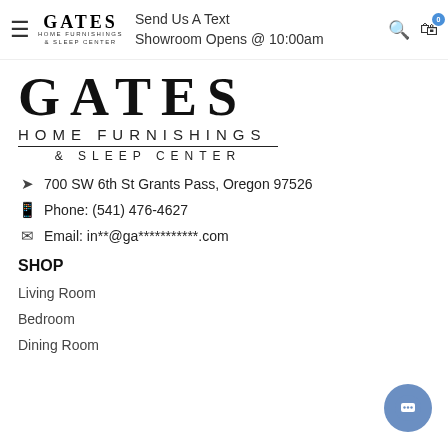Gates Home Furnishings & Sleep Center — Send Us A Text | Showroom Opens @ 10:00am
[Figure (logo): Gates Home Furnishings & Sleep Center large logo with serif lettering]
700 SW 6th St Grants Pass, Oregon 97526
Phone: (541) 476-4627
Email: in**@ga***********.com
SHOP
Living Room
Bedroom
Dining Room